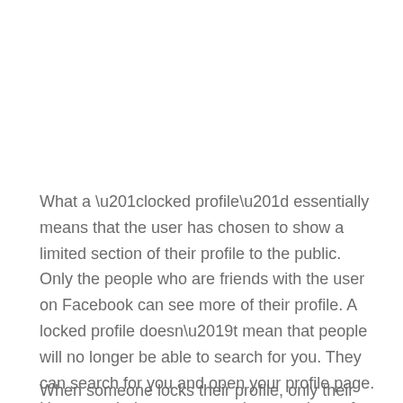What a “locked profile” essentially means that the user has chosen to show a limited section of their profile to the public. Only the people who are friends with the user on Facebook can see more of their profile. A locked profile doesn’t mean that people will no longer be able to search for you. They can search for you and open your profile page. However, their access to various sections of your profile will be extremely limited.
When someone locks their profile, only their friends